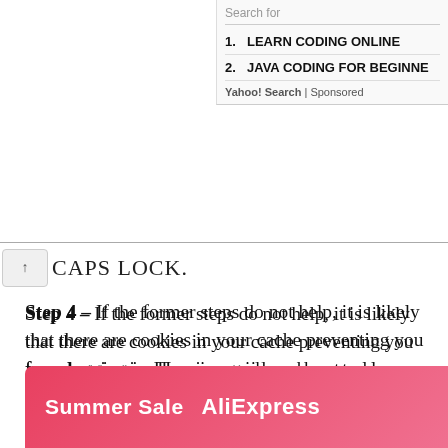Search for
1. LEARN CODING ONLINE
2. JAVA CODING FOR BEGINNERS
Yahoo! Search | Sponsored
CAPS LOCK.
Step 4 – If the former steps do not help, it is likely that there are cookies in your cache preventing you from logging in. Here is a guide on how to clear your cache on your browser.
Step 5 – The website might be on the list of restricted sites in your region. You can check it with your Virtual Private Network (VPN) and consider switching your server to another country if you have the option to. If that does not work either, you can switch off VPN completely.
[Figure (other): Bottom banner advertisement showing Summer Sale and AliExpress logo on pink/red gradient background]